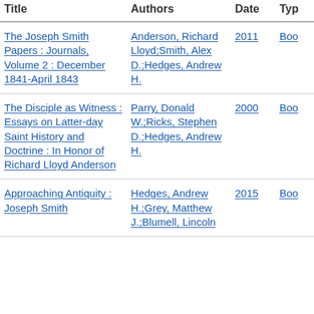| Title | Authors | Date | Type |
| --- | --- | --- | --- |
| The Joseph Smith Papers : Journals, Volume 2 : December 1841-April 1843 | Anderson, Richard Lloyd;Smith, Alex D.;Hedges, Andrew H. | 2011 | Boo[k] |
| The Disciple as Witness : Essays on Latter-day Saint History and Doctrine : In Honor of Richard Lloyd Anderson | Parry, Donald W.;Ricks, Stephen D.;Hedges, Andrew H. | 2000 | Boo[k] |
| Approaching Antiquity : Joseph Smith | Hedges, Andrew H.;Grey, Matthew J.;Blumell, Lincoln | 2015 | Boo[k] |